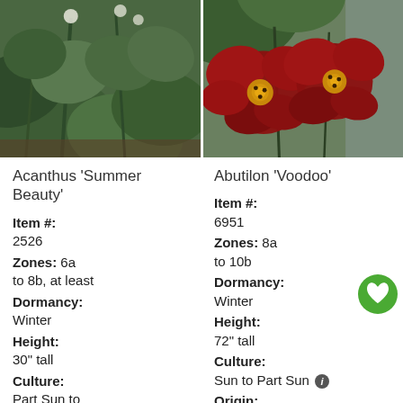[Figure (photo): Close-up photo of Acanthus 'Summer Beauty' plant with large dark green deeply lobed leaves]
[Figure (photo): Close-up photo of Abutilon 'Voodoo' with deep red flowers with yellow stamens]
Acanthus 'Summer Beauty'
Item #:
2526
Zones: 6a to 8b, at least
Dormancy: Winter
Height: 30" tall
Culture: Part Sun to
Abutilon 'Voodoo'
Item #:
6951
Zones: 8a to 10b
Dormancy: Winter
Height: 72" tall
Culture: Sun to Part Sun
Origin: